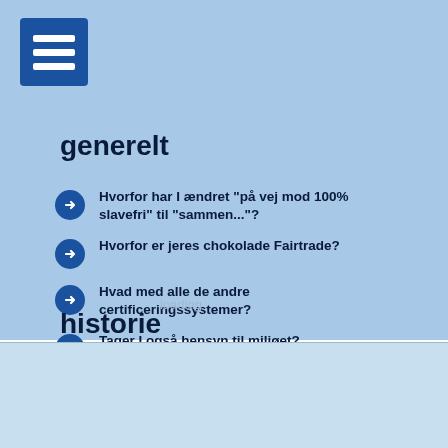[Figure (other): Hamburger menu icon — three white horizontal lines on a dark blue square background]
generelt
Hvorfor har I ændret "på vej mod 100% slavefri" til "sammen..."?
Hvorfor er jeres chokolade Fairtrade?
Hvad med alle de andre certificeringssystemer?
Tager I også hensyn til miljøet?
Hvorfor er jeres barer ikke ligeligt opdelt?
historie
about our cookies
hvad slags cookies?
deny   customize   ok!